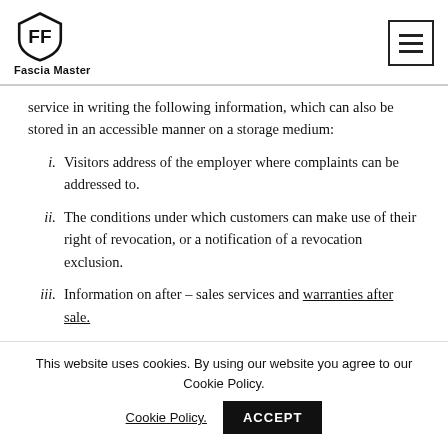Fascia Master
service in writing the following information, which can also be stored in an accessible manner on a storage medium:
i. Visitors address of the employer where complaints can be addressed to.
ii. The conditions under which customers can make use of their right of revocation, or a notification of a revocation exclusion.
iii. Information on after – sales services and warranties after sale.
This website uses cookies. By using our website you agree to our Cookie Policy.